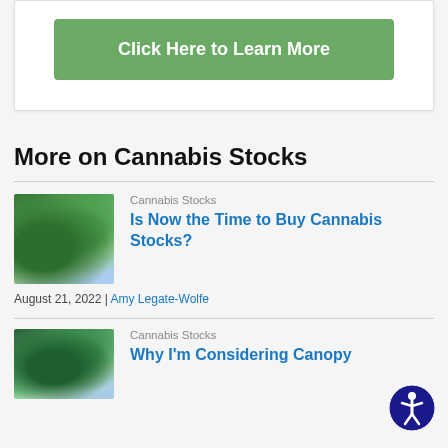[Figure (other): Green button reading 'Click Here to Learn More' inside a white card box]
More on Cannabis Stocks
[Figure (photo): Cannabis leaf plant close-up photo]
Cannabis Stocks
Is Now the Time to Buy Cannabis Stocks?
August 21, 2022 | Amy Legate-Wolfe
[Figure (photo): Cannabis leaf plant close-up photo second article]
Cannabis Stocks
Why I'm Considering Canopy